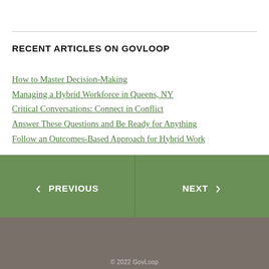RECENT ARTICLES ON GOVLOOP
How to Master Decision-Making
Managing a Hybrid Workforce in Queens, NY
Critical Conversations: Connect in Conflict
Answer These Questions and Be Ready for Anything
Follow an Outcomes-Based Approach for Hybrid Work
© 2022 GovLoop